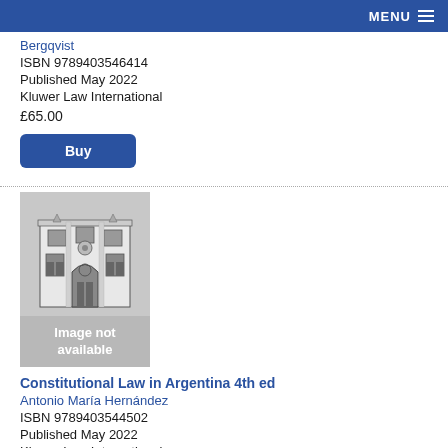MENU
Bergqvist
ISBN 9789403546414
Published May 2022
Kluwer Law International
£65.00
Buy
[Figure (illustration): Book cover placeholder showing a building facade illustration in black and white with 'Image not available' text overlay]
Constitutional Law in Argentina 4th ed
Antonio María Hernández
ISBN 9789403544502
Published May 2022
Kluwer Law International